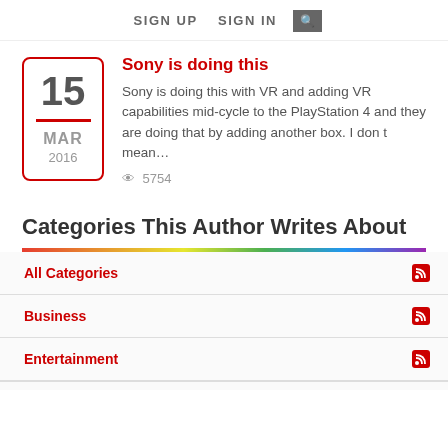SIGN UP   SIGN IN   [search]
Sony is doing this
Sony is doing this with VR and adding VR capabilities mid-cycle to the PlayStation 4 and they are doing that by adding another box. I don t mean…
5754
Categories This Author Writes About
All Categories
Business
Entertainment